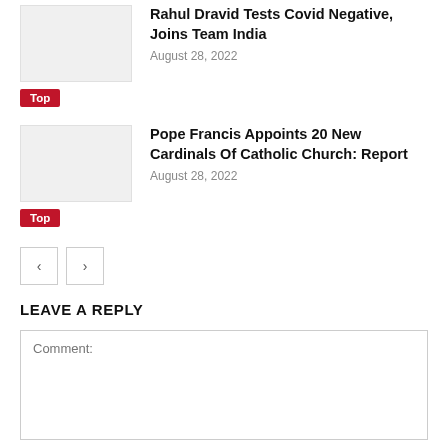Rahul Dravid Tests Covid Negative, Joins Team India
August 28, 2022
Top
Pope Francis Appoints 20 New Cardinals Of Catholic Church: Report
August 28, 2022
Top
LEAVE A REPLY
Comment: